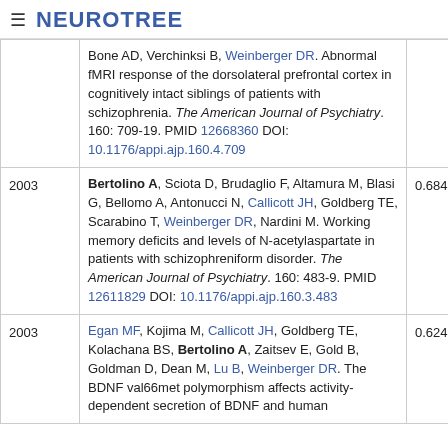≡ NEUROTREE
| Year | Reference | Score |
| --- | --- | --- |
|  | Bone AD, Verchinksi B, Weinberger DR. Abnormal fMRI response of the dorsolateral prefrontal cortex in cognitively intact siblings of patients with schizophrenia. The American Journal of Psychiatry. 160: 709-19. PMID 12668360 DOI: 10.1176/appi.ajp.160.4.709 |  |
| 2003 | Bertolino A, Sciota D, Brudaglio F, Altamura M, Blasi G, Bellomo A, Antonucci N, Callicott JH, Goldberg TE, Scarabino T, Weinberger DR, Nardini M. Working memory deficits and levels of N-acetylaspartate in patients with schizophreniform disorder. The American Journal of Psychiatry. 160: 483-9. PMID 12611829 DOI: 10.1176/appi.ajp.160.3.483 | 0.684 |
| 2003 | Egan MF, Kojima M, Callicott JH, Goldberg TE, Kolachana BS, Bertolino A, Zaitsev E, Gold B, Goldman D, Dean M, Lu B, Weinberger DR. The BDNF val66met polymorphism affects activity-dependent secretion of BDNF and human | 0.624 |